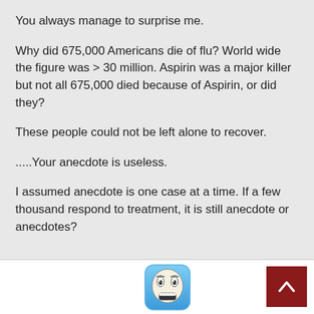You always manage to surprise me.
Why did 675,000 Americans die of flu? World wide the figure was > 30 million. Aspirin was a major killer but not all 675,000 died because of Aspirin, or did they?
These people could not be left alone to recover.
.....Your anecdote is useless.
I assumed anecdote is one case at a time. If a few thousand respond to treatment, it is still anecdote or anecdotes?
[Figure (illustration): Cartoon emoji-style face with wide eyes and teeth showing, on a blue/teal rounded square background]